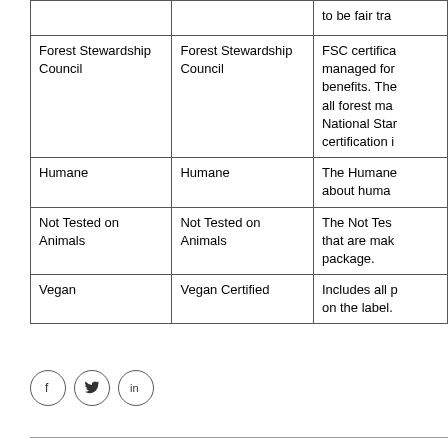|  |  | to be fair tra |
| Forest Stewardship Council | Forest Stewardship Council | FSC certifica managed for benefits. The all forest ma National Star certification i |
| Humane | Humane | The Humane about huma |
| Not Tested on Animals | Not Tested on Animals | The Not Tes that are mak package. |
| Vegan | Vegan Certified | Includes all p on the label. |
[Figure (other): Social media icons: Facebook (f), Twitter (bird), LinkedIn (in)]